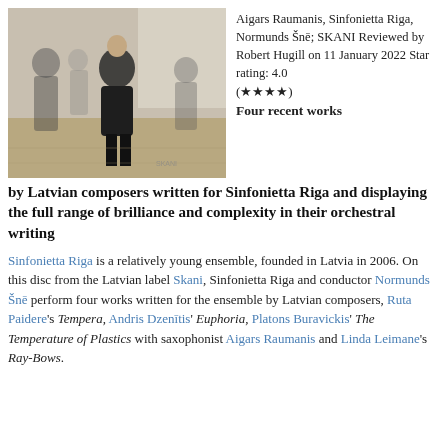[Figure (photo): A man in dark clothing stands centrally in a blurred interior space with other figures around him, warm wooden floor visible.]
Aigars Raumanis, Sinfonietta Riga, Normunds Šnē; SKANI Reviewed by Robert Hugill on 11 January 2022 Star rating: 4.0 (★★★★)
Four recent works by Latvian composers written for Sinfonietta Riga and displaying the full range of brilliance and complexity in their orchestral writing
Sinfonietta Riga is a relatively young ensemble, founded in Latvia in 2006. On this disc from the Latvian label Skani, Sinfonietta Riga and conductor Normunds Šnē perform four works written for the ensemble by Latvian composers, Ruta Paidere's Tempera, Andris Dzenītis' Euphoria, Platons Buravickis' The Temperature of Plastics with saxophonist Aigars Raumanis and Linda Leimane's Ray-Bows.